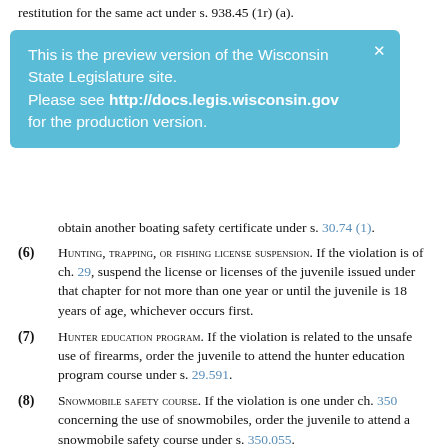restitution for the same act under s. 938.45 (1r) (a).
[Figure (screenshot): Blue preview banner: 'This is the preview version of the Wisconsin State Legislature site. Please see http://docs.legis.wisconsin.gov for the production version.']
obtain another boating safety certificate under s. 30.74 (1).
(6) HUNTING, TRAPPING, OR FISHING LICENSE SUSPENSION. If the violation is of ch. 29, suspend the license or licenses of the juvenile issued under that chapter for not more than one year or until the juvenile is 18 years of age, whichever occurs first.
(7) HUNTER EDUCATION PROGRAM. If the violation is related to the unsafe use of firearms, order the juvenile to attend the hunter education program course under s. 29.591.
(8) SNOWMOBILE SAFETY COURSE. If the violation is one under ch. 350 concerning the use of snowmobiles, order the juvenile to attend a snowmobile safety course under s. 350.055.
(9) ALL-TERRAIN OR UTILITY TERRAIN VEHICLE SAFETY COURSE. If the violation is one under s. 23.33 or under an ordinance enacted in accordance with s. 23.33 concerning the use of all-terrain vehicles or utility terrain vehicles, order the juvenile to attend an all-terrain vehicle or utility terrain vehicle safety course.
(9m) OFF-HIGHWAY MOTORCYCLE SAFETY CERTIFICATION PROGRAM. If the violation is one under s. 23.335 or under an ordinance